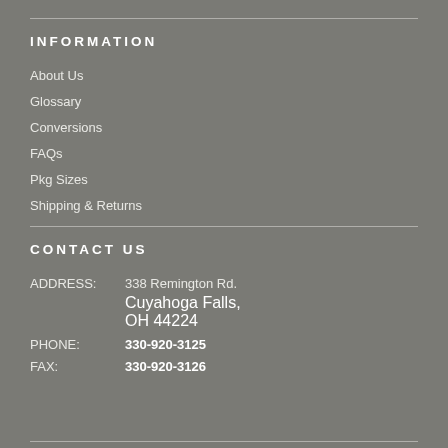INFORMATION
About Us
Glossary
Conversions
FAQs
Pkg Sizes
Shipping & Returns
CONTACT US
ADDRESS: 338 Remington Rd.
Cuyahoga Falls,
OH 44224
PHONE: 330-920-3125
FAX: 330-920-3126